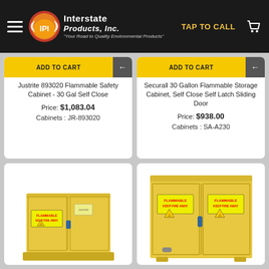Interstate Products, Inc. — TAP TO CALL
Justrite 893020 Flammable Safety Cabinet - 30 Gal Self Close
Price: $1,083.04
Cabinets : JR-893020
Securall 30 Gallon Flammable Storage Cabinet, Self Close Self Latch Sliding Door
Price: $938.00
Cabinets : SA-A230
[Figure (photo): Yellow flammable safety cabinet with FLAMMABLE KEEP FIRE AWAY label and hazard symbol, two doors, under-counter size]
[Figure (photo): Yellow flammable storage cabinet, larger size with two doors, FLAMMABLE KEEP FIRE AWAY label and hazard symbol on both doors]